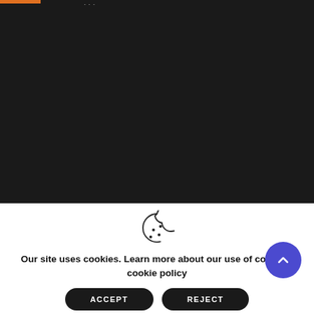[Figure (screenshot): Dark background navigation/header area of a website with an orange progress bar and faint header text]
[Figure (illustration): Cookie consent icon - outline drawing of a cookie with bite taken out and dots]
Our site uses cookies. Learn more about our use of cookies: cookie policy
[Figure (other): ACCEPT button - dark rounded pill button]
[Figure (other): REJECT button - dark rounded pill button]
[Figure (other): Purple circular scroll-to-top button with upward chevron]